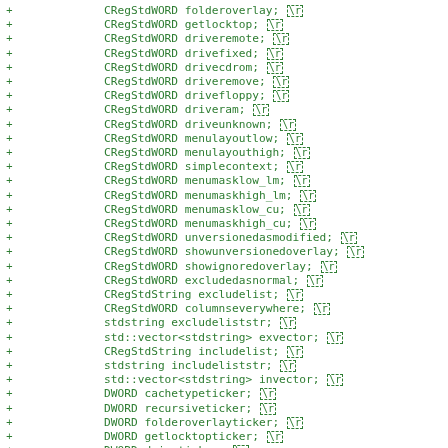+ CRegStdWORD folderoverlay; \r
+ CRegStdWORD getlocktop; \r
+ CRegStdWORD driveremote; \r
+ CRegStdWORD drivefixed; \r
+ CRegStdWORD drivecdrom; \r
+ CRegStdWORD driveremove; \r
+ CRegStdWORD drivefloppy; \r
+ CRegStdWORD driveram; \r
+ CRegStdWORD driveunknown; \r
+ CRegStdWORD menulayoutlow; \r
+ CRegStdWORD menulayouthigh; \r
+ CRegStdWORD simplecontext; \r
+ CRegStdWORD menumasklow_lm; \r
+ CRegStdWORD menumaskhigh_lm; \r
+ CRegStdWORD menumasklow_cu; \r
+ CRegStdWORD menumaskhigh_cu; \r
+ CRegStdWORD unversionedasmodified; \r
+ CRegStdWORD showunversionedoverlay; \r
+ CRegStdWORD showignoredoverlay; \r
+ CRegStdWORD excludedasnormal; \r
+ CRegStdString excludelist; \r
+ CRegStdWORD columnseverywhere; \r
+ stdstring excludeliststr; \r
+ std::vector<stdstring> exvector; \r
+ CRegStdString includelist; \r
+ stdstring includeliststr; \r
+ std::vector<stdstring> invector; \r
+ DWORD cachetypeticker; \r
+ DWORD recursiveticker; \r
+ DWORD folderoverlayticker; \r
+ DWORD getlocktopticker; \r
+ DWORD driveticker; \r